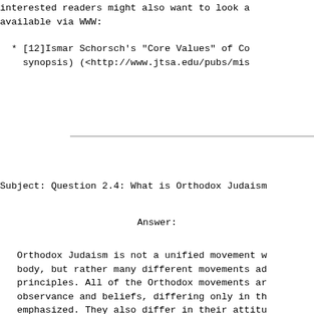interested readers might also want to look at... available via WWW:
* [12]Ismar Schorsch's "Core Values" of Co... synopsis) (<http://www.jtsa.edu/pubs/mis...
Subject: Question 2.4: What is Orthodox Judaism...
Answer:
Orthodox Judaism is not a unified movement w... body, but rather many different movements ad... principles. All of the Orthodox movements ar... observance and beliefs, differing only in th... emphasized. They also differ in their attitu... and the state of Israel. They all share one...